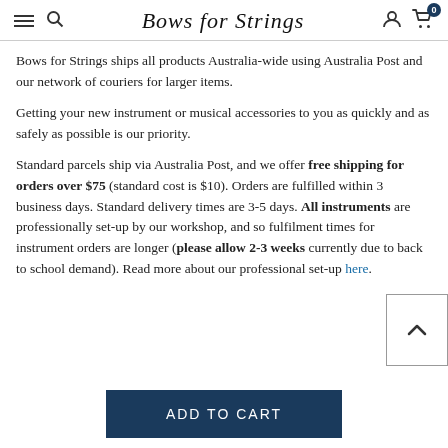Bows for Strings
Bows for Strings ships all products Australia-wide using Australia Post and our network of couriers for larger items.
Getting your new instrument or musical accessories to you as quickly and as safely as possible is our priority.
Standard parcels ship via Australia Post, and we offer free shipping for orders over $75 (standard cost is $10). Orders are fulfilled within 3 business days. Standard delivery times are 3-5 days. All instruments are professionally set-up by our workshop, and so fulfilment times for instrument orders are longer (please allow 2-3 weeks currently due to back to school demand). Read more about our professional set-up here.